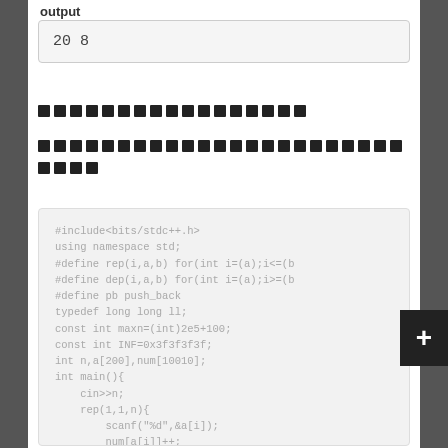output
20  8
[Thai text - section description]
[Thai text - longer description paragraph]
#include<bits/stdc++.h>
using namespace std;
#define rep(i,a,b) for(int i=(a);i<=(b
#define dep(i,a,b) for(int i=(a);i>=(b
#define pb push_back
typedef long long ll;
const int maxn=(int)2e5+100;
const int INF=0x3f3f3f3f;
int n,a[200],num[10010];
int main(){
    cin>>n;
    rep(1,1,n){
        scanf("%d",&a[i]);
        num[a[i]]++;
    } sort(a+1,a+1+n);